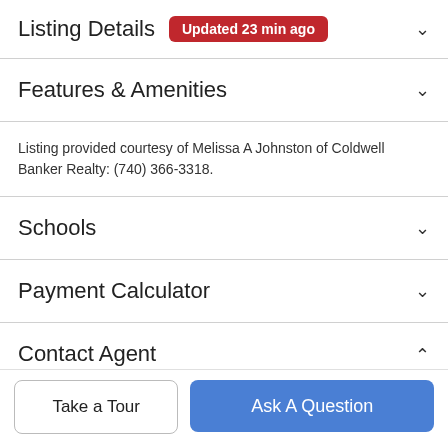Listing Details  Updated 23 min ago
Features & Amenities
Listing provided courtesy of Melissa A Johnston of Coldwell Banker Realty: (740) 366-3318.
Schools
Payment Calculator
Contact Agent
[Figure (photo): Agent profile photo, circular crop, woman with short blonde/brown hair]
Take a Tour
Ask A Question